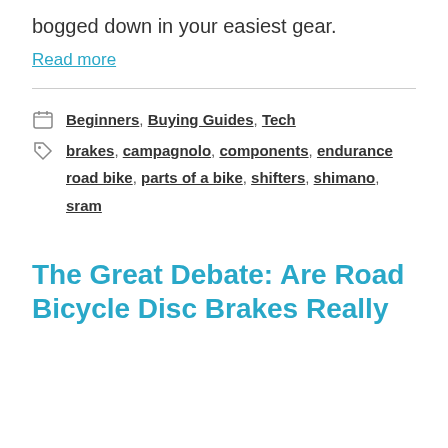bogged down in your easiest gear.
Read more
Categories: Beginners, Buying Guides, Tech
Tags: brakes, campagnolo, components, endurance road bike, parts of a bike, shifters, shimano, sram
The Great Debate: Are Road Bicycle Disc Brakes Really